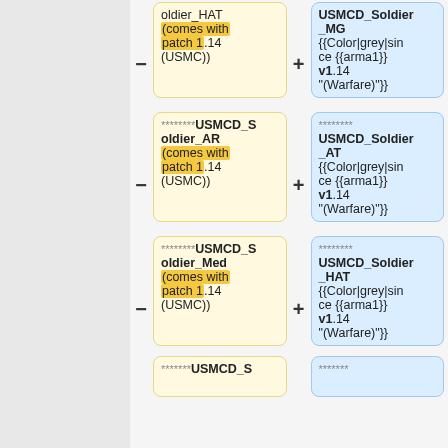oldier_HAT (comes with patch 1.14 (USMC))
USMCD_Soldier_MG {{Color|grey|since {{arma1}} v1.14 "(Warfare)"}}
********USMCD_Soldier_AR (comes with patch 1.14 (USMC))
********USMCD_Soldier_AT {{Color|grey|since {{arma1}} v1.14 "(Warfare)"}}
********USMCD_Soldier_Med (comes with patch 1.14 (USMC))
********USMCD_Soldier_HAT {{Color|grey|since {{arma1}} v1.14 "(Warfare)"}}
********USMCD_S...